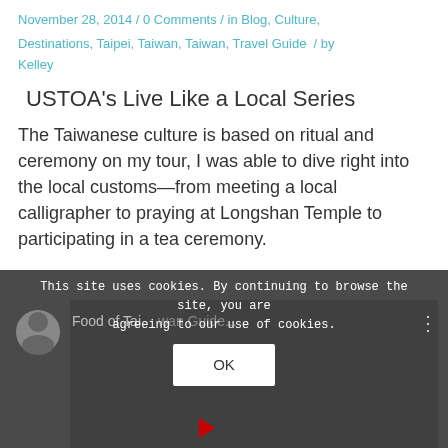November 28, 2014 / 0 Comments / in Blog, Culture, Destinations, Taipei, Taiwan, Taiwan, Travel Guide / by Kelley
USTOA's Live Like a Local Series
The Taiwanese culture is based on ritual and ceremony on my tour, I was able to dive right into the local customs—from meeting a local calligrapher to praying at Longshan Temple to participating in a tea ceremony.
[Figure (screenshot): A dark video thumbnail showing 'Food of Taiwan Guide...' with an avatar circle, three-dot menu, and a cookie consent banner overlay with 'This site uses cookies. By continuing to browse the site, you are agreeing to our use of cookies.' and an OK button.]